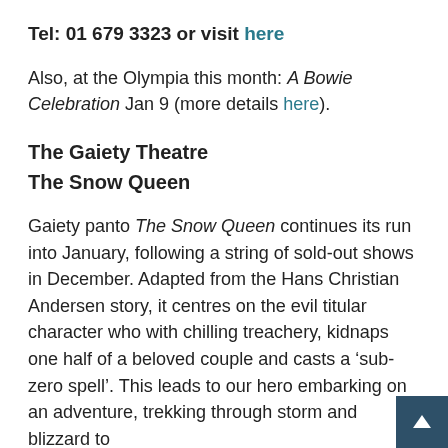Tel: 01 679 3323 or visit here
Also, at the Olympia this month: A Bowie Celebration Jan 9 (more details here).
The Gaiety Theatre
The Snow Queen
Gaiety panto The Snow Queen continues its run into January, following a string of sold-out shows in December. Adapted from the Hans Christian Andersen story, it centres on the evil titular character who with chilling treachery, kidnaps one half of a beloved couple and casts a ‘sub-zero spell’. This leads to our hero embarking on an adventure, trekking through storm and blizzard to